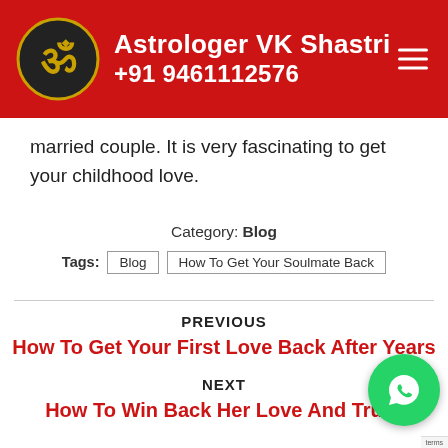Astrologer VK Shastri +91 9461112576
married couple. It is very fascinating to get your childhood love.
Category: Blog
Tags: Blog  How To Get Your Soulmate Back
PREVIOUS
How To Get Your First Love Back After Years
NEXT
How To Win Back Her Love And Trust